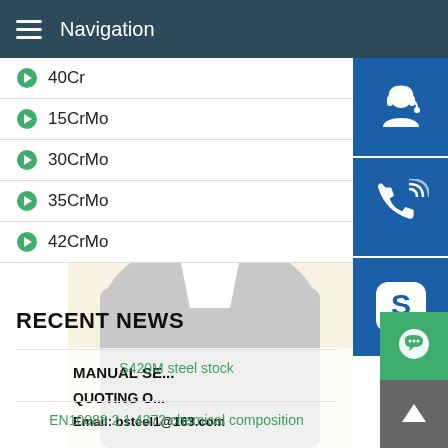Navigation
40Cr
15CrMo
30CrMo
35CrMo
42CrMo
[Figure (photo): Customer service representative woman wearing headset, smiling, with yellow background. Overlaid with blue sidebar icons for customer service, phone, and Skype. Banner text: MANUAL SE... QUOTING O... Email: bsteel1@163.com]
RECENT NEWS
S420M steel stock
EN10088 2 1 4372 chemical composition